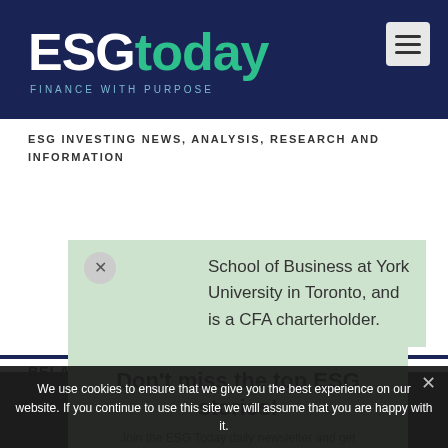ESGtoday — FINANCE WITH PURPOSE — ESG INVESTING NEWS, ANALYSIS, RESEARCH AND INFORMATION
School of Business at York University in Toronto, and is a CFA charterholder.
RELATED POSTS
[Figure (screenshot): Green newsletter popup overlay: Don't miss the top ESG stories! Join the ESG Today daily newsletter and get all the top ESG stories, like this one. Subscribe now!]
We use cookies to ensure that we give you the best experience on our website. If you continue to use this site we will assume that you are happy with it.
Ok   Privacy policy